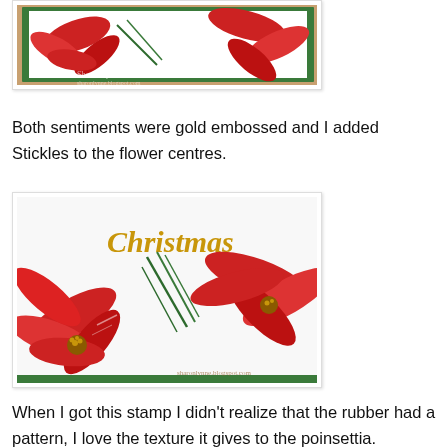[Figure (photo): Close-up photo of a Christmas card with red poinsettia flowers on a green background, with a watermark signature visible.]
Both sentiments were gold embossed and I added Stickles to the flower centres.
[Figure (photo): Close-up photo of a Christmas card showing red poinsettia flowers with green pine needles and gold embossed 'Christmas' text, on white background with green border.]
When I got this stamp I didn't realize that the rubber had a pattern, I love the texture it gives to the poinsettia.
I"m entering this card for Simon Says Stamp Wednesday